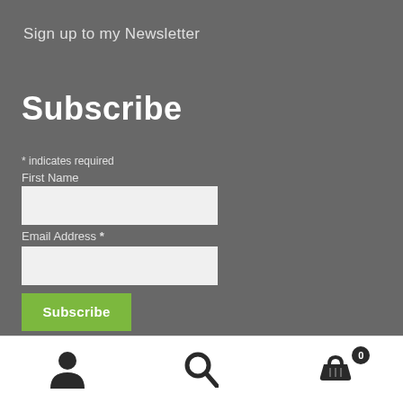Sign up to my Newsletter
Subscribe
* indicates required
First Name
Email Address *
Subscribe
[Figure (infographic): Navigation footer bar with three icons: user/person icon, search/magnifying glass icon, and shopping basket icon with a badge showing 0]